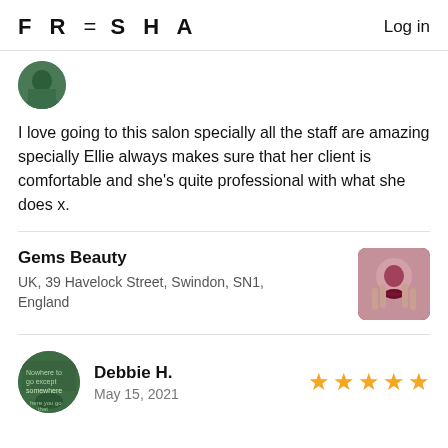FRESHA   Log in
[Figure (photo): Circular profile photo of a person, partially visible at the top]
I love going to this salon specially all the staff are amazing specially Ellie always makes sure that her client is comfortable and she's quite professional with what she does x.
Gems Beauty
UK, 39 Havelock Street, Swindon, SN1, England
[Figure (photo): Square thumbnail photo of a woman with dark lipstick touching her face]
[Figure (photo): Circular profile photo of Debbie H. with a green background]
Debbie H.
May 15, 2021
★★★★★